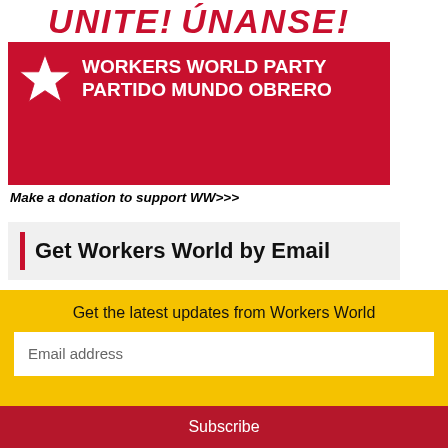[Figure (photo): Banner showing 'UNITE! UNANSE! WORKERS WORLD PARTY PARTIDO MUNDO OBRERO' in red and white with a star graphic]
Make a donation to support WW>>>
Get Workers World by Email
EMAIL ADDRESS (REQUIRED)
FIRST NAME
LAST NAME
Get the latest updates from Workers World
Email address
Subscribe